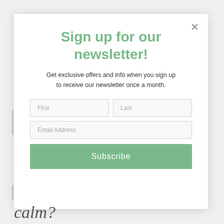Sign up for our newsletter!
Get exclusive offers and info when you sign up to receive our newsletter once a month.
[Figure (screenshot): Newsletter signup form with First, Last, Email Address fields and a Subscribe button]
calm?